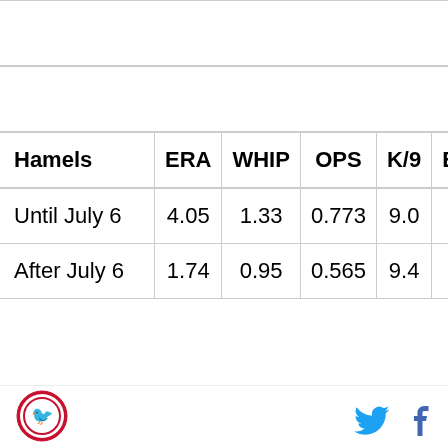| Hamels | ERA | WHIP | OPS | K/9 | BB/9 | H |
| --- | --- | --- | --- | --- | --- | --- |
| Until July 6 | 4.05 | 1.33 | 0.773 | 9.0 | 3.0 |  |
| After July 6 | 1.74 | 0.95 | 0.565 | 9.4 | 1.9 |  |
Both have shown incredible improvement in the second half of their seasons. And they've done it in roughly the same ways. They've both struck out a ton of batters both early and late in the season, but they've both also cut down on their walks and home runs in significant ways. As a result, their OPS against are down dramatically, especially Lidge's. They've both also cut their batting average on balls in play, again